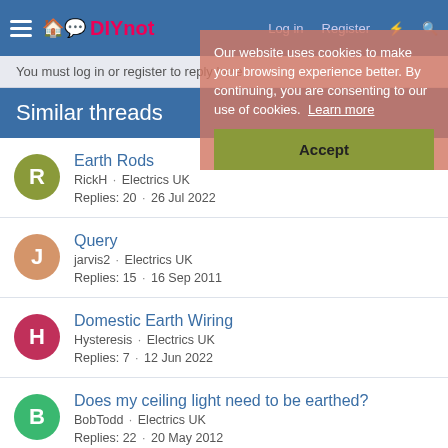DIYnot — Navigation bar with hamburger menu, logo, Log in, Register links
Our website uses cookies to make your browsing experience better. By continuing, you are consenting to our use of cookies. Learn more
Accept
You must log in or register to reply here.
Similar threads
Earth Rods — RickH · Electrics UK — Replies: 20 · 26 Jul 2022
Query — jarvis2 · Electrics UK — Replies: 15 · 16 Sep 2011
Domestic Earth Wiring — Hysteresis · Electrics UK — Replies: 7 · 12 Jun 2022
Does my ceiling light need to be earthed? — BobTodd · Electrics UK — Replies: 22 · 20 May 2012